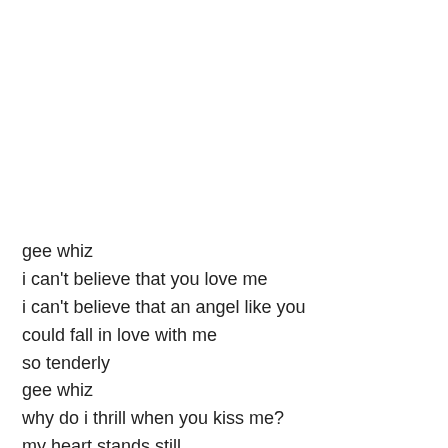gee whiz
i can't believe that you love me
i can't believe that an angel like you
could fall in love with me
so tenderly
gee whiz
why do i thrill when you kiss me?
my heart stands still
when you're holding my hand
the feeling is oh so grand